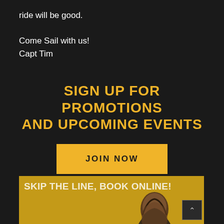ride will be good.

Come Sail with us!
Capt Tim
SIGN UP FOR PROMOTIONS AND UPCOMING EVENTS
JOIN NOW
[Figure (infographic): Yellow banner with text 'SKIP THE LINE, BOOK ONLINE!' and partial view of a person's head at bottom, with a scroll-up button in the lower right corner.]